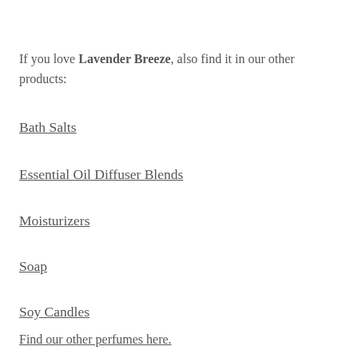If you love Lavender Breeze, also find it in our other products:
Bath Salts
Essential Oil Diffuser Blends
Moisturizers
Soap
Soy Candles
Find our other perfumes here.